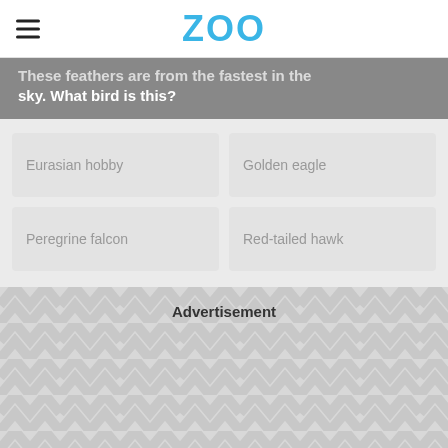ZOO
These feathers are from the fastest in the sky. What bird is this?
Eurasian hobby
Golden eagle
Peregrine falcon
Red-tailed hawk
Advertisement